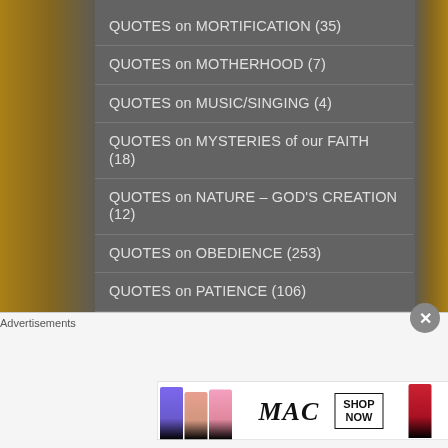QUOTES on MORTIFICATION (35)
QUOTES on MOTHERHOOD (7)
QUOTES on MUSIC/SINGING (4)
QUOTES on MYSTERIES of our FAITH (18)
QUOTES on NATURE – GOD'S CREATION (12)
QUOTES on OBEDIENCE (253)
QUOTES on PATIENCE (106)
QUOTES on PEACE (177)
QUOTES on PERSECUTION (106)
QUOTES on PERSEVERANCE (162)
QUOTES on POVERTY (17)
Advertisements
[Figure (photo): MAC Cosmetics advertisement showing colorful lipsticks with MAC logo and SHOP NOW box]